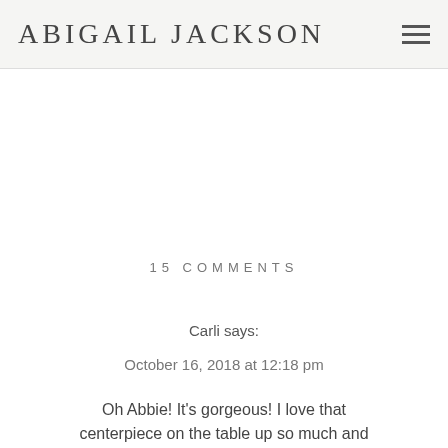ABIGAIL JACKSON
15 COMMENTS
Carli says:
October 16, 2018 at 12:18 pm
Oh Abbie! It’s gorgeous! I love that centerpiece on the table up so much and